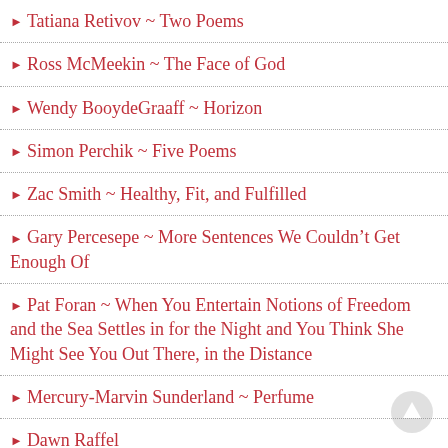Tatiana Retivov ~ Two Poems
Ross McMeekin ~ The Face of God
Wendy BooydeGraaff ~ Horizon
Simon Perchik ~ Five Poems
Zac Smith ~ Healthy, Fit, and Fulfilled
Gary Percesepe ~ More Sentences We Couldn’t Get Enough Of
Pat Foran ~ When You Entertain Notions of Freedom and the Sea Settles in for the Night and You Think She Might See You Out There, in the Distance
Mercury-Marvin Sunderland ~ Perfume
Dawn Raffel
Rev. Traci Blackmon